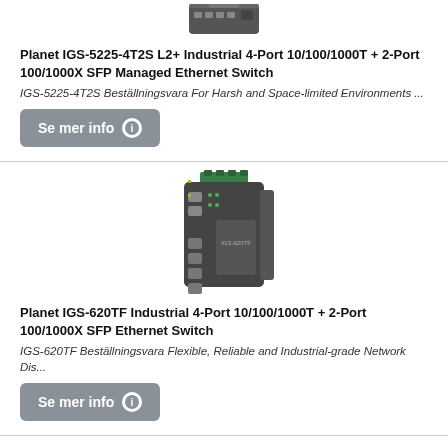[Figure (photo): Partial image of Planet IGS-5225-4T2S industrial switch at top of page]
Planet IGS-5225-4T2S L2+ Industrial 4-Port 10/100/1000T + 2-Port 100/1000X SFP Managed Ethernet Switch
IGS-5225-4T2S Beställningsvara For Harsh and Space-limited Environments ...
Se mer info
[Figure (photo): Photo of Planet IGS-620TF industrial ethernet switch, dark grey box with green terminal block on top and multiple ports]
Planet IGS-620TF Industrial 4-Port 10/100/1000T + 2-Port 100/1000X SFP Ethernet Switch
IGS-620TF Beställningsvara Flexible, Reliable and Industrial-grade Network Dis...
Se mer info